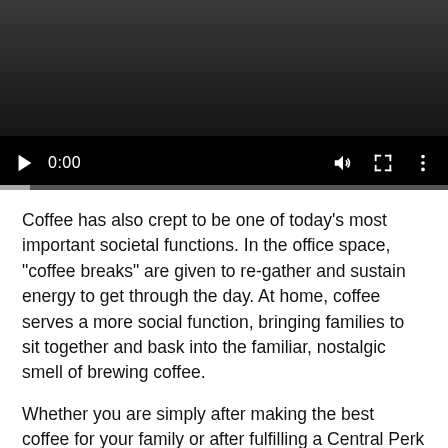[Figure (screenshot): Embedded video player with dark background, showing play button, 0:00 timestamp, volume icon, fullscreen icon, and more options icon. A progress bar is at the bottom.]
Coffee has also crept to be one of today's most important societal functions. In the office space, "coffee breaks" are given to re-gather and sustain energy to get through the day. At home, coffee serves a more social function, bringing families to sit together and bask into the familiar, nostalgic smell of brewing coffee.
Whether you are simply after making the best coffee for your family or after fulfilling a Central Perk fantasy, here are some coffee makers to couple your caffeine staples with:
Dutch Lab Akma 3000 Coffee Machine